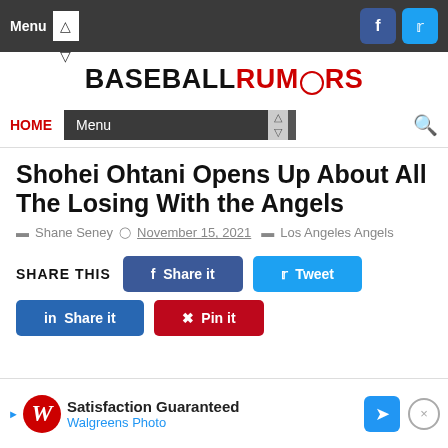Menu  [facebook] [twitter]
BASEBALLRUMORS
HOME  Menu  [search]
Shohei Ohtani Opens Up About All The Losing With the Angels
Shane Seney  November 15, 2021  Los Angeles Angels
SHARE THIS  Share it  Tweet  Share it  Pin it
[Figure (screenshot): Walgreens Photo advertisement banner: Satisfaction Guaranteed, Walgreens Photo]